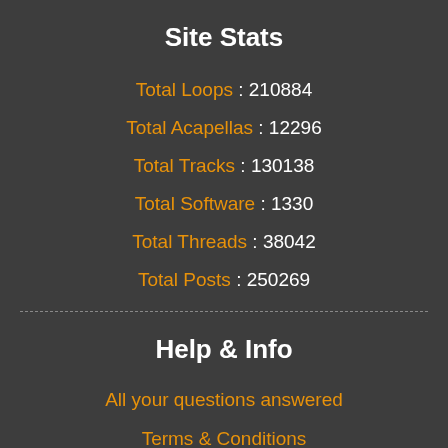Site Stats
Total Loops : 210884
Total Acapellas : 12296
Total Tracks : 130138
Total Software : 1330
Total Threads : 38042
Total Posts : 250269
Help & Info
All your questions answered
Terms & Conditions
Privacy Policy
Cookie Policy
Copyright / DMCA
FTC Disclosure
Our Sponsors